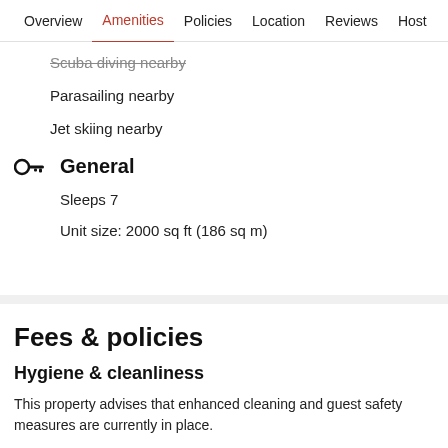Overview  Amenities  Policies  Location  Reviews  Host
Scuba diving nearby
Parasailing nearby
Jet skiing nearby
General
Sleeps 7
Unit size: 2000 sq ft (186 sq m)
Fees & policies
Hygiene & cleanliness
This property advises that enhanced cleaning and guest safety measures are currently in place.
Disinfectant is used to clean the property; commonly-touched surfaces are cleaned with disinfectant between stays; bed sheets